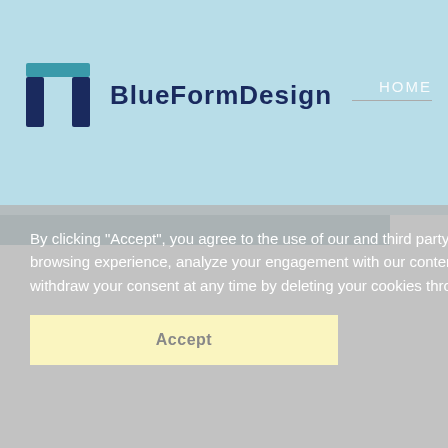[Figure (logo): BlueFormDesign logo: dark navy blue icon resembling a form/bracket shape with a teal top bar, next to the text 'BlueFormDesign' in dark navy]
HOME
By clicking "Accept", you agree to the use of our and third party cookies and other similar technologies to enhance your browsing experience, analyze your engagement with our content, and for other legitimate business purposes. You can withdraw your consent at any time by deleting your cookies through your browser.
Accept